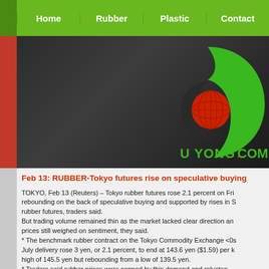Home | Rubber | Plastic | Contact
[Figure (logo): U Yong.com logo — green crescent/swoosh shape with red globe in center, text 'U YONG.COM' in green below, on dark background]
Feb 13: RUBBER-Tokyo futures rise on speculative buying
TOKYO, Feb 13 (Reuters) – Tokyo rubber futures rose 2.1 percent on Friday, rebounding on the back of speculative buying and supported by rises in Shanghai rubber futures, traders said.
But trading volume remained thin as the market lacked clear direction and falling prices still weighed on sentiment, they said.
* The benchmark rubber contract on the Tokyo Commodity Exchange <0s> July delivery rose 3 yen, or 2.1 percent, to end at 143.6 yen ($1.59) per k high of 145.5 yen but rebounding from a low of 139.5 yen.
* Traders said rubber prices were capped by thin demand and reluctance